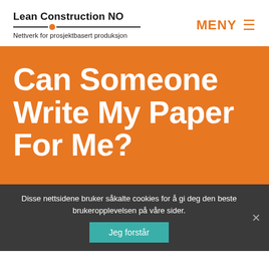[Figure (logo): Lean Construction NO logo with tagline 'Nettverk for prosjektbasert produksjon']
MENY ≡
Can Someone Write My Paper For Me?
Disse nettsidene bruker såkalte cookies for å gi deg den beste brukeropplevelsen på våre sider.
Jeg forstår